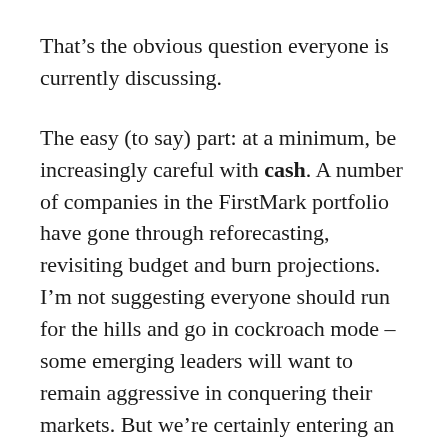That’s the obvious question everyone is currently discussing.
The easy (to say) part: at a minimum, be increasingly careful with cash. A number of companies in the FirstMark portfolio have gone through reforecasting, revisiting budget and burn projections. I’m not suggesting everyone should run for the hills and go in cockroach mode – some emerging leaders will want to remain aggressive in conquering their markets. But we’re certainly entering an era of tighter financial management, at a minimum.
The hardest question is whether startups